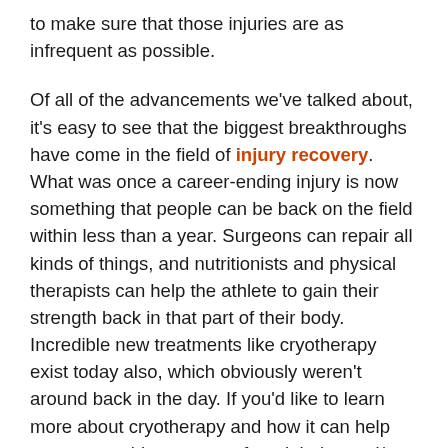to make sure that those injuries are as infrequent as possible.
Of all of the advancements we've talked about, it's easy to see that the biggest breakthroughs have come in the field of injury recovery. What was once a career-ending injury is now something that people can be back on the field within less than a year. Surgeons can repair all kinds of things, and nutritionists and physical therapists can help the athlete to gain their strength back in that part of their body. Incredible new treatments like cryotherapy exist today also, which obviously weren't around back in the day. If you'd like to learn more about cryotherapy and how it can help you as an athlete recover from injuries and/or workouts and perform at your peak level, check out Kryozen the next time you're down in Houston, Texas.